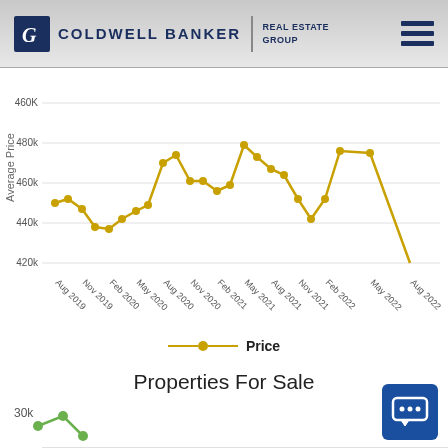[Figure (logo): Coldwell Banker Real Estate Group logo with hamburger menu icon]
[Figure (line-chart): Average Price]
Price
Properties For Sale